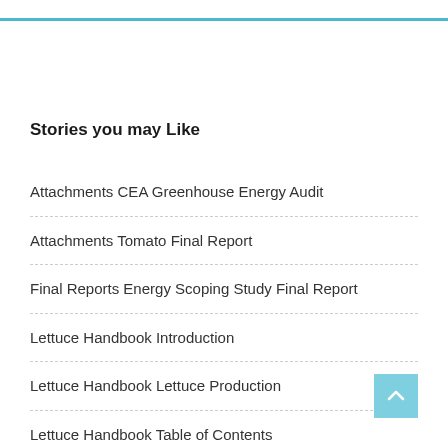Stories you may Like
Attachments CEA Greenhouse Energy Audit
Attachments Tomato Final Report
Final Reports Energy Scoping Study Final Report
Lettuce Handbook Introduction
Lettuce Handbook Lettuce Production
Lettuce Handbook Table of Contents
Pakchoi Handbook Pc Introduction